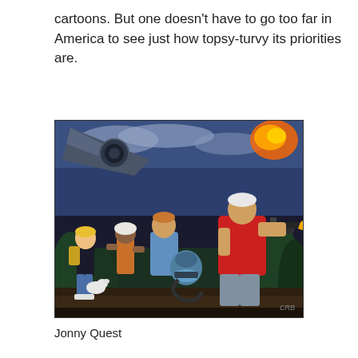cartoons. But one doesn't have to go too far in America to see just how topsy-turvy its priorities are.
[Figure (illustration): Comic book style illustration of the Jonny Quest characters: a blonde boy with a backpack and white dog running, a girl and young man in the middle carrying a device, and an older white-haired man in red firing a gun, with an aircraft and jungle/explosion in the background. Artist initials 'CRB' visible in bottom right corner.]
Jonny Quest